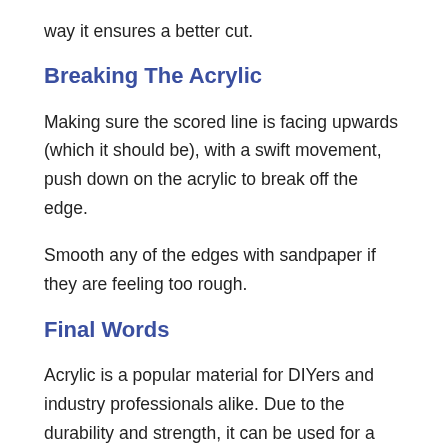way it ensures a better cut.
Breaking The Acrylic
Making sure the scored line is facing upwards (which it should be), with a swift movement, push down on the acrylic to break off the edge.
Smooth any of the edges with sandpaper if they are feeling too rough.
Final Words
Acrylic is a popular material for DIYers and industry professionals alike. Due to the durability and strength, it can be used for a number of different projects.